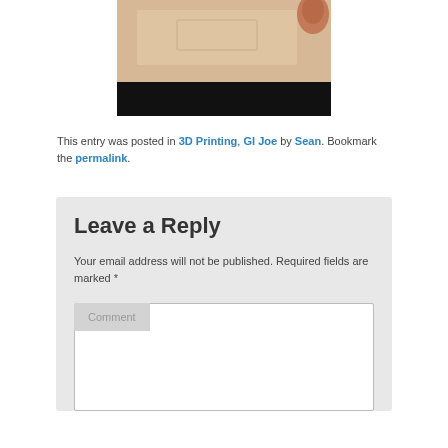[Figure (photo): A photo showing a hand near a light-colored surface with a dark/black bottom strip, appearing to be a video frame or photograph of someone tracing or drawing.]
This entry was posted in 3D Printing, GI Joe by Sean. Bookmark the permalink.
Leave a Reply
Your email address will not be published. Required fields are marked *
Comment